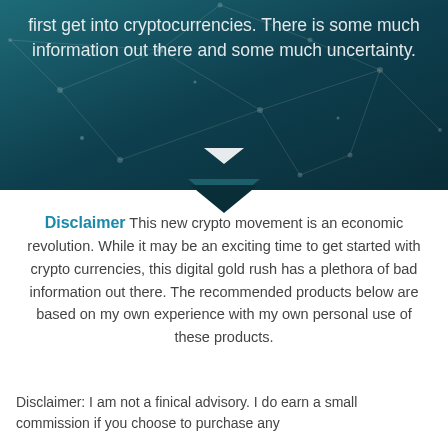[Figure (illustration): Dark teal/green hero banner with network node graphic overlay and a white down arrow, containing partial text about cryptocurrencies and uncertainty]
first get into cryptocurrencies. There is some much information out there and some much uncertainty.
Disclaimer This new crypto movement is an economic revolution. While it may be an exciting time to get started with crypto currencies, this digital gold rush has a plethora of bad information out there. The recommended products below are based on my own experience with my own personal use of these products.
Disclaimer: I am not a finical advisory. I do earn a small commission if you choose to purchase any